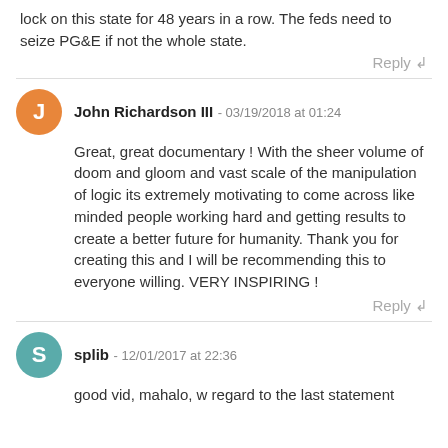lock on this state for 48 years in a row. The feds need to seize PG&E if not the whole state.
Reply ↲
John Richardson III - 03/19/2018 at 01:24
Great, great documentary ! With the sheer volume of doom and gloom and vast scale of the manipulation of logic its extremely motivating to come across like minded people working hard and getting results to create a better future for humanity. Thank you for creating this and I will be recommending this to everyone willing. VERY INSPIRING !
Reply ↲
splib - 12/01/2017 at 22:36
good vid, mahalo, w regard to the last statement